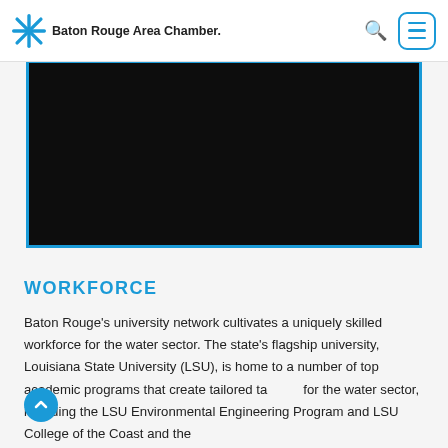Baton Rouge Area Chamber.
[Figure (screenshot): Video player showing a player error state with dark/black background and blue border]
WORKFORCE
Baton Rouge's university network cultivates a uniquely skilled workforce for the water sector. The state's flagship university, Louisiana State University (LSU), is home to a number of top academic programs that create tailored talent for the water sector, including the LSU Environmental Engineering Program and LSU College of the Coast and the